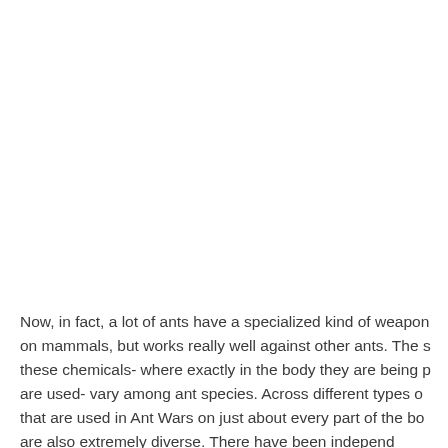Now, in fact, a lot of ants have a specialized kind of weapon on mammals, but works really well against other ants. The s these chemicals- where exactly in the body they are being p are used- vary among ant species. Across different types o that are used in Ant Wars on just about every part of the bo are also extremely diverse. There have been independ...